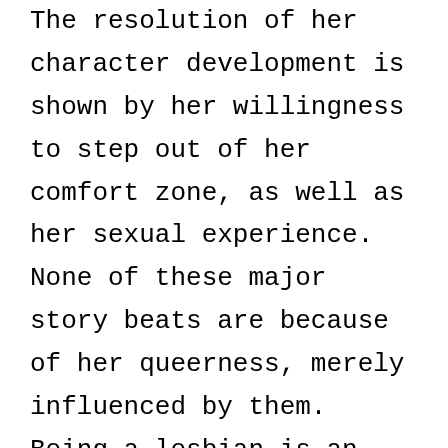The resolution of her character development is shown by her willingness to step out of her comfort zone, as well as her sexual experience. None of these major story beats are because of her queerness, merely influenced by them. Being a lesbian is an important part of her story, but it's not the only thing that influences her trajectory. It's a representation of queerness that exists closest to how queer people exist in real life. Her character is a reflection of a fully rounded, queer person with goals, ideas, and actions determined outside of her sexuality. It provides an idea for young LGBTQ+ people of who they can be and how this piece of themselves can fit into their